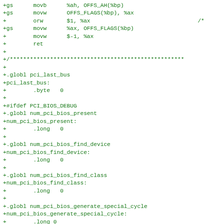+gs	movb	%ah, OFFS_AH(%bp)
+gs	movw	OFFS_FLAGS(%bp), %ax
+	orw	$1, %ax				/*
+gs	movw	%ax, OFFS_FLAGS(%bp)
+	movw	$-1, %ax
+	ret
+
+/****************************************************
+
+.globl pci_last_bus
+pci_last_bus:
+		.byte	0
+
+#ifdef PCI_BIOS_DEBUG
+.globl num_pci_bios_present
+num_pci_bios_present:
+		.long	0
+
+.globl num_pci_bios_find_device
+num_pci_bios_find_device:
+		.long	0
+
+.globl num_pci_bios_find_class
+num_pci_bios_find_class:
+		.long	0
+
+.globl num_pci_bios_generate_special_cycle
+num_pci_bios_generate_special_cycle:
+		.long 0
+
+.globl num_pci_bios_find_d